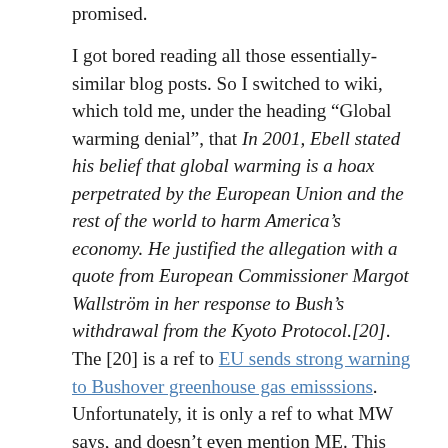promised.
I got bored reading all those essentially-similar blog posts. So I switched to wiki, which told me, under the heading “Global warming denial”, that In 2001, Ebell stated his belief that global warming is a hoax perpetrated by the European Union and the rest of the world to harm America’s economy. He justified the allegation with a quote from European Commissioner Margot Wallström in her response to Bush’s withdrawal from the Kyoto Protocol.[20]. The [20] is a ref to EU sends strong warning to Bushover greenhouse gas emisssions. Unfortunately, it is only a ref to what MW says, and doesn’t even mention ME. This falls rather short of wiki’s normal standards.